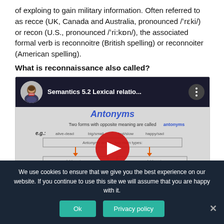of exploing to gain military information. Often referred to as recce (UK, Canada and Australia, pronounced /ˈrɛki/) or recon (U.S., pronounced /ˈriːkɒn/), the associated formal verb is reconnoitre (British spelling) or reconnoiter (American spelling).
What is reconnaissance also called?
[Figure (screenshot): YouTube video thumbnail for 'Semantics 5.2 Lexical relatio...' showing a flowchart about antonyms with play button overlay.]
We use cookies to ensure that we give you the best experience on our website. If you continue to use this site we will assume that you are happy with it.